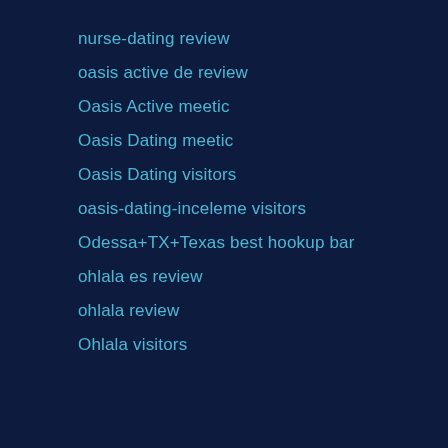nurse-dating review
oasis active de review
Oasis Active meetic
Oasis Dating meetic
Oasis Dating visitors
oasis-dating-inceleme visitors
Odessa+TX+Texas best hookup bar
ohlala es review
ohlala review
Ohlala visitors